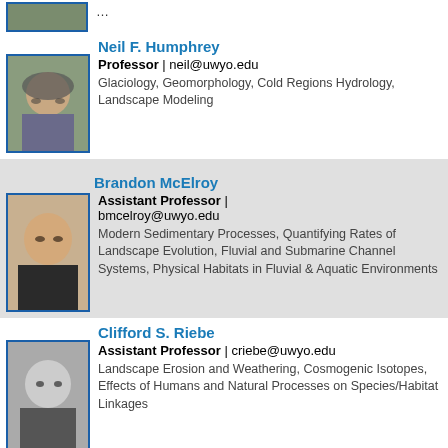[Figure (photo): Partial photo of faculty member at top of page (cropped)]
Neil F. Humphrey
Professor | neil@uwyo.edu
Glaciology, Geomorphology, Cold Regions Hydrology, Landscape Modeling
[Figure (photo): Photo of Neil F. Humphrey wearing sunglasses and a cap]
Brandon McElroy
Assistant Professor | bmcelroy@uwyo.edu
Modern Sedimentary Processes, Quantifying Rates of Landscape Evolution, Fluvial and Submarine Channel Systems, Physical Habitats in Fluvial & Aquatic Environments
[Figure (photo): Photo of Brandon McElroy]
Clifford S. Riebe
Assistant Professor | criebe@uwyo.edu
Landscape Erosion and Weathering, Cosmogenic Isotopes, Effects of Humans and Natural Processes on Species/Habitat Linkages
[Figure (photo): Black and white photo of Clifford S. Riebe]
Bryan N. Shuman
Associate Professor | bshuman@uwyo.edu
Director of the Roy J. Shlemon Center in...